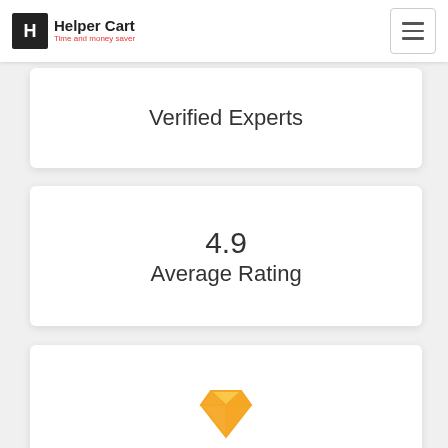Helper Cart — Time and money saver
Verified Experts
4.9
Average Rating
[Figure (illustration): Gold/yellow diamond gem icon]
India's Best Service Experts
Time and Money Saver